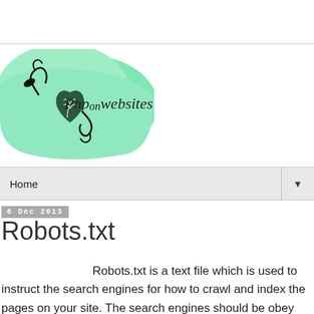[Figure (logo): PhponWebsites logo with a decorative heart and plant motif on a mint green background with italic text 'PhponWebsites']
Home
6 Dec 2013
Robots.txt
Robots.txt is a text file which is used to instruct the search engines for how to crawl and index the pages on your site. The search engines should be obey the robots.txt. The search engine follow the instruction specified by robots.txt file. If you want to some of your pages are not crawl by search engine, then you can protect that pages in robots.txt. Then the search engine don't crawl particular